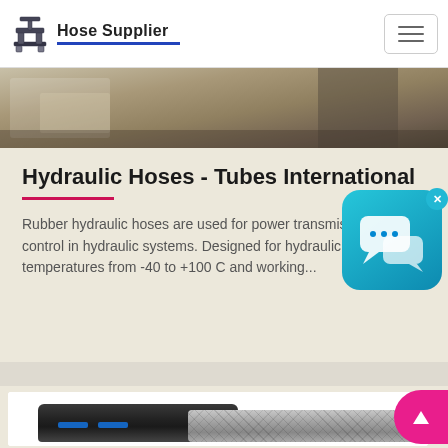Hose Supplier
[Figure (photo): Top portion of an outdoor scene with construction/industrial hose equipment, person visible in background]
Hydraulic Hoses - Tubes International
Rubber hydraulic hoses are used for power transmission and control in hydraulic systems. Designed for hydraulic oil, working temperatures from -40 to +100 C and working...
[Figure (illustration): Chat support widget icon — two speech bubbles on a blue rounded square background, with an X close button]
[Figure (photo): Bottom section showing hydraulic hoses — dark rubber hose and grey braided hose]